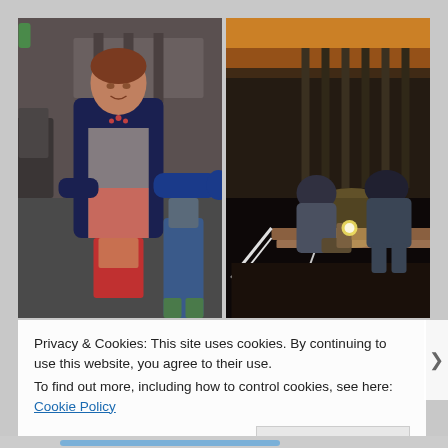[Figure (photo): Two side-by-side photos. Left: A woman wearing a navy top and patterned apron with blue rubber gloves reaching toward someone in a community hall setting. Right: Two people crouching over a raised garden bed at night, illuminated by a light source.]
Privacy & Cookies: This site uses cookies. By continuing to use this website, you agree to their use.
To find out more, including how to control cookies, see here: Cookie Policy
Close and accept